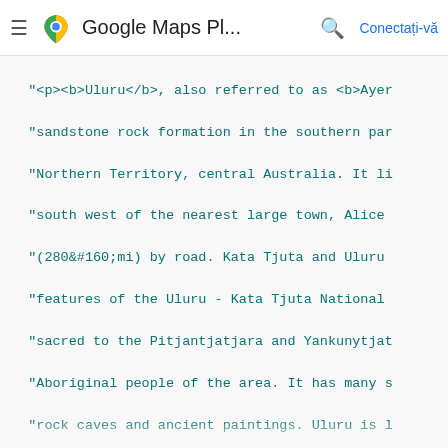Google Maps Pl... — Conectați-vă
Code snippet showing Google Maps InfoWindow JavaScript code with contentString HTML and infowindow initialization
const infowindow = new google.maps.InfoWindow({
  content: contentString,
});

const marker = new google.maps.Marker({